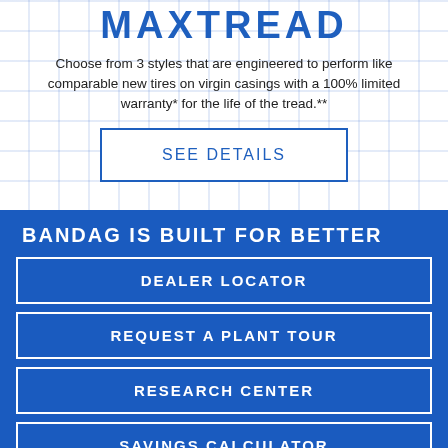MAXTREAD
Choose from 3 styles that are engineered to perform like comparable new tires on virgin casings with a 100% limited warranty* for the life of the tread.**
SEE DETAILS
BANDAG IS BUILT FOR BETTER
DEALER LOCATOR
REQUEST A PLANT TOUR
RESEARCH CENTER
SAVINGS CALCULATOR